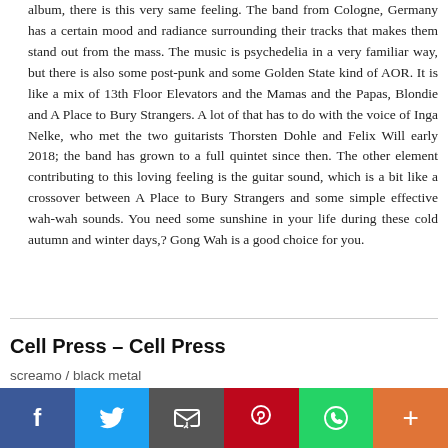album, there is this very same feeling. The band from Cologne, Germany has a certain mood and radiance surrounding their tracks that makes them stand out from the mass. The music is psychedelia in a very familiar way, but there is also some post-punk and some Golden State kind of AOR. It is like a mix of 13th Floor Elevators and the Mamas and the Papas, Blondie and A Place to Bury Strangers. A lot of that has to do with the voice of Inga Nelke, who met the two guitarists Thorsten Dohle and Felix Will early 2018; the band has grown to a full quintet since then. The other element contributing to this loving feeling is the guitar sound, which is a bit like a crossover between A Place to Bury Strangers and some simple effective wah-wah sounds. You need some sunshine in your life during these cold autumn and winter days,? Gong Wah is a good choice for you.
Cell Press – Cell Press
screamo / black metal
[Figure (photo): Album artwork thumbnail partially visible at bottom of page]